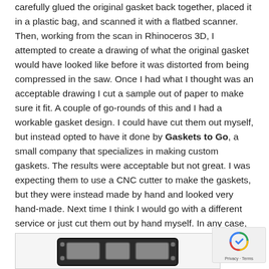carefully glued the original gasket back together, placed it in a plastic bag, and scanned it with a flatbed scanner. Then, working from the scan in Rhinoceros 3D, I attempted to create a drawing of what the original gasket would have looked like before it was distorted from being compressed in the saw. Once I had what I thought was an acceptable drawing I cut a sample out of paper to make sure it fit. A couple of go-rounds of this and I had a workable gasket design. I could have cut them out myself, but instead opted to have it done by Gaskets to Go, a small company that specializes in making custom gaskets. The results were acceptable but not great. I was expecting them to use a CNC cutter to make the gaskets, but they were instead made by hand and looked very hand-made. Next time I think I would go with a different service or just cut them out by hand myself. In any case, even if they didn't look great, the new gaskets worked fine. The scans and drawings are available at the end of this article.
[Figure (photo): Photograph of a dark-colored gasket partially visible at the bottom of the page]